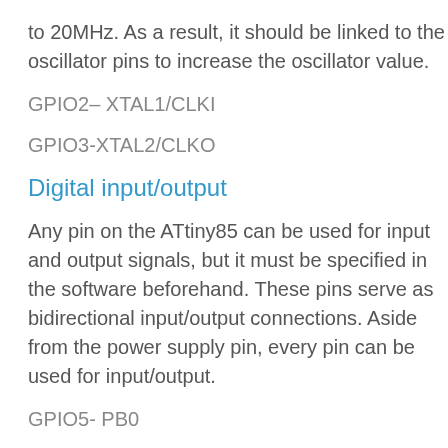to 20MHz. As a result, it should be linked to the oscillator pins to increase the oscillator value.
GPIO2– XTAL1/CLKI
GPIO3-XTAL2/CLKO
Digital input/output
Any pin on the ATtiny85 can be used for input and output signals, but it must be specified in the software beforehand. These pins serve as bidirectional input/output connections. Aside from the power supply pin, every pin can be used for input/output.
GPIO5- PB0
GPIO6- PB1
GPIO7- PB2